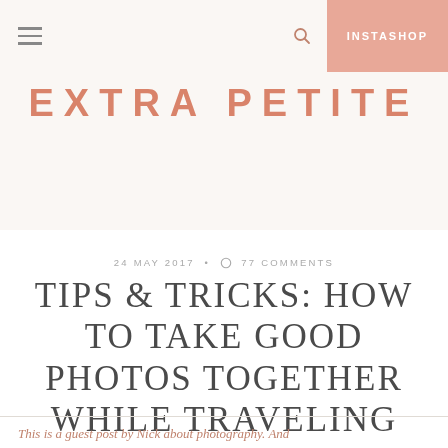EXTRA PETITE — INSTASHOP
EXTRA PETITE
24 MAY 2017 • ○ 77 COMMENTS
TIPS & TRICKS: HOW TO TAKE GOOD PHOTOS TOGETHER WHILE TRAVELING
This is a guest post by Nick about photography. And